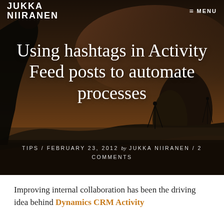JUKKA NIIRANEN  ≡ MENU
Using hashtags in Activity Feed posts to automate processes
TIPS / FEBRUARY 23, 2012 by JUKKA NIIRANEN / 2 COMMENTS
[Figure (photo): Dark atmospheric photo of a person's silhouette against a dramatic coastal landscape at dusk/sunset, with rocky islands and moody sky in the background.]
Improving internal collaboration has been the driving idea behind Dynamics CRM Activity